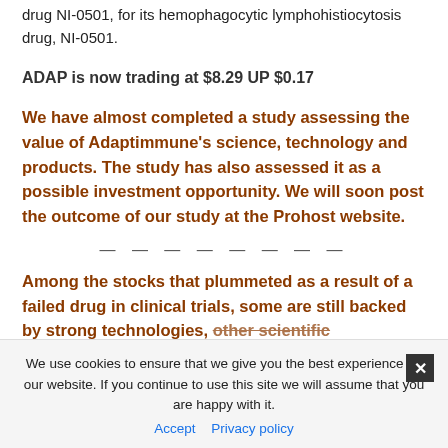drug NI-0501, for its hemophagocytic lymphohistiocytosis drug, NI-0501.
ADAP is now trading at $8.29 UP $0.17
We have almost completed a study assessing the value of Adaptimmune's science, technology and products. The study has also assessed it as a possible investment opportunity. We will soon post the outcome of our study at the Prohost website.
— — — — — — — —
Among the stocks that plummeted as a result of a failed drug in clinical trials, some are still backed by strong technologies, other scientific fundamentals and good managements. Of those firms, some might find ways to survive and eventually bring back a lot of the previously lost value. We will be posting. The posting will include an assessment of the firms left unassessed in Prohost Report 2.
We use cookies to ensure that we give you the best experience on our website. If you continue to use this site we will assume that you are happy with it. Accept | Privacy policy